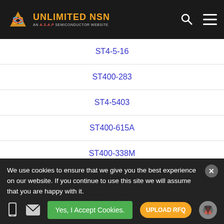UNLIMITED NSN - AN A.S.A.P SEMICONDUCTOR WEBSITE
| Part Number |
| --- |
| ST4-5-16 |
| ST400-283 |
| ST4-5403 |
| ST400-615A |
| ST400-338M |
| ST400 |
| ST400-52 |
We use cookies to ensure that we give you the best experience on our website. If you continue to use this site we will assume that you are happy with it.